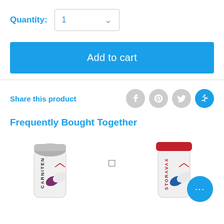Quantity: 1
Add to cart
Share this product
Frequently Bought Together
[Figure (photo): Two supplement bottles: CARNITEN (left, white bottle with red cap and purple/white capsule) and STORAVAX (right, white bottle with red cap and blue/white capsule), shown as frequently bought together products.]